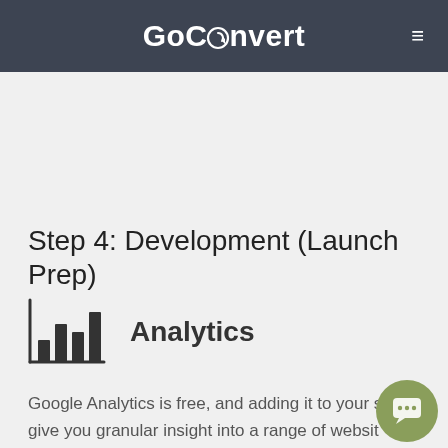GoConvert ≡
Step 4: Development (Launch Prep)
[Figure (illustration): Bar chart icon representing Analytics]
Analytics
Google Analytics is free, and adding it to your site give you granular insight into a range of websit activity including where your traffic comes from, how